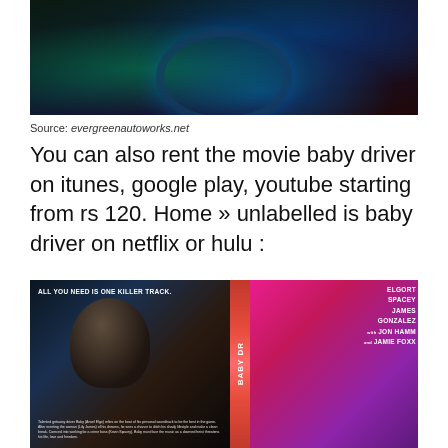[Figure (photo): Dark cinematic photo showing a driver at a steering wheel with blue and green tinted lighting]
Source: evergreenautoworks.net
You can also rent the movie baby driver on itunes, google play, youtube starting from rs 120. Home » unlabelled is baby driver on netflix or hulu :
[Figure (photo): Baby Driver movie DVD cover showing cast including Elgort, Spacey, James, Gonzalez, Hamm, Foxx with red spine and pink right panel]